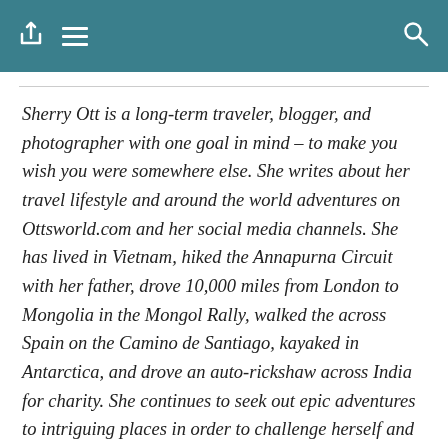[navigation bar with share, menu, and search icons]
Sherry Ott is a long-term traveler, blogger, and photographer with one goal in mind – to make you wish you were somewhere else. She writes about her travel lifestyle and around the world adventures on Ottsworld.com and her social media channels. She has lived in Vietnam, hiked the Annapurna Circuit with her father, drove 10,000 miles from London to Mongolia in the Mongol Rally, walked the across Spain on the Camino de Santiago, kayaked in Antarctica, and drove an auto-rickshaw across India for charity. She continues to seek out epic adventures to intriguing places in order to challenge herself and inspire people to overcome their fears and reap the benefits of travel.